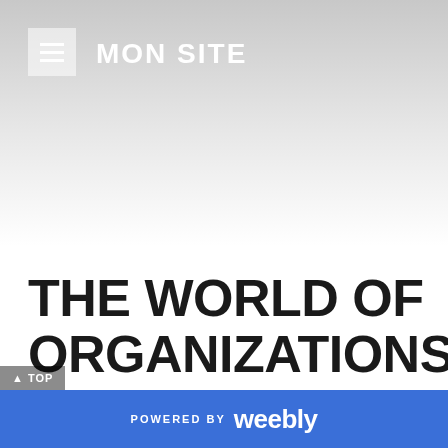MON SITE
THE WORLD OF ORGANIZATIONS AND BUSINESS IS REACHING NEW HEIGHTS
POWERED BY weebly